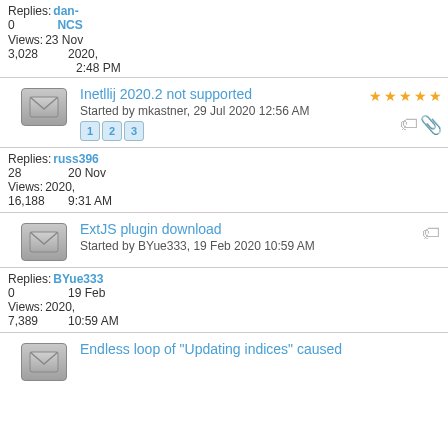Replies: 0
Views: 3,028
dan-NCS
23 Nov 2020, 2:48 PM
Inetllij 2020.2 not supported
Started by mkastner, 29 Jul 2020 12:56 AM
Replies: 28
Views: 16,188
russ396
20 Nov 2020, 9:31 AM
ExtJS plugin download
Started by BYue333, 19 Feb 2020 10:59 AM
Replies: 0
Views: 7,389
BYue333
19 Feb 2020, 10:59 AM
Endless loop of "Updating indices" caused